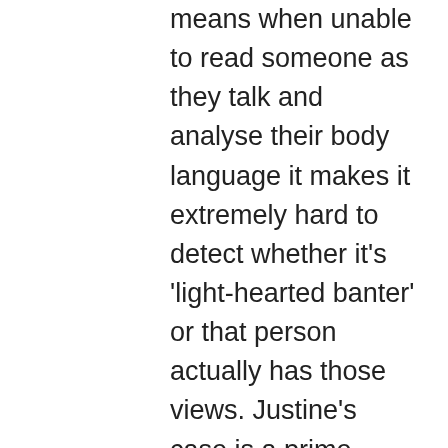means when unable to read someone as they talk and analyse their body language it makes it extremely hard to detect whether it's 'light-hearted banter' or that person actually has those views. Justine's case is a prime example of when, due to social media, mixed messages can be sent and have huge consequences.
In Turkle's talk she expresses her negative view on social media and how, in her opinion, it has shaped a new society and normalised 'being afraid of being alone' which she thinks is a harmful trait to have. Turkle uses the phrase 'connected, but alone' which, to an extent, I agree with. I believe that social media is place to many people where they can go to in order to feel connected to others which I think is quite a